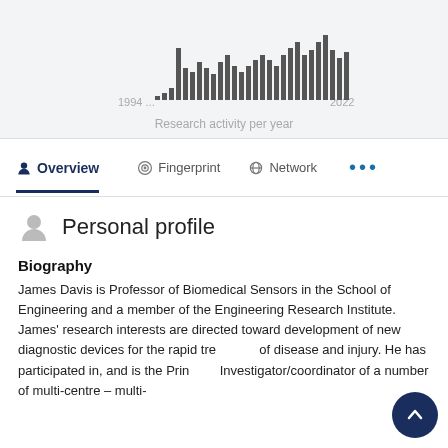[Figure (histogram): Research activity per year]
Research activity per year
Overview
Fingerprint
Network
Personal profile
Biography
James Davis is Professor of Biomedical Sensors in the School of Engineering and a member of the Engineering Research Institute. James' research interests are directed toward development of new diagnostic devices for the rapid treatment of disease and injury. He has participated in, and is the Principal Investigator/coordinator of a number of multi-centre – multi-